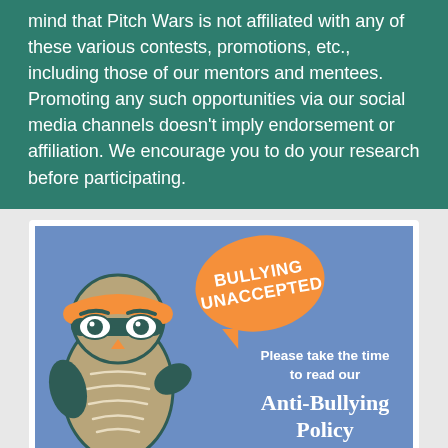mind that Pitch Wars is not affiliated with any of these various contests, promotions, etc., including those of our mentors and mentees. Promoting any such opportunities via our social media channels doesn't imply endorsement or affiliation. We encourage you to do your research before participating.
[Figure (illustration): An illustration of a cartoon owl wearing an orange headband with goggles, making a tough expression. Next to it is an orange speech bubble saying 'BULLYING UNACCEPTED'. Below the owl on a blue background is text: 'Please take the time to read our Anti-Bullying Policy'.]